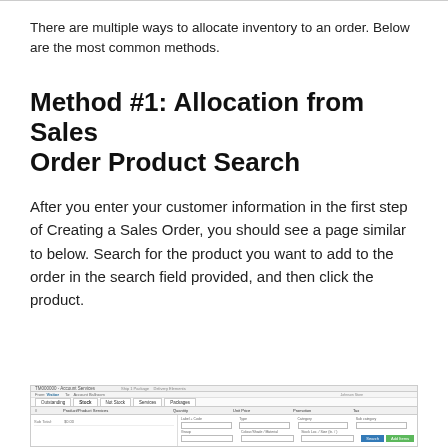There are multiple ways to allocate inventory to an order. Below are the most common methods.
Method #1: Allocation from Sales Order Product Search
After you enter your customer information in the first step of Creating a Sales Order, you should see a page similar to below. Search for the product you want to add to the order in the search field provided, and then click the product.
[Figure (screenshot): Screenshot of a Sales Order product search interface showing tabs (Outstanding, Stock, Not Stock, Services, Packages), fields for product search, and a table with columns for quantity, unit price, promotion, and tax.]